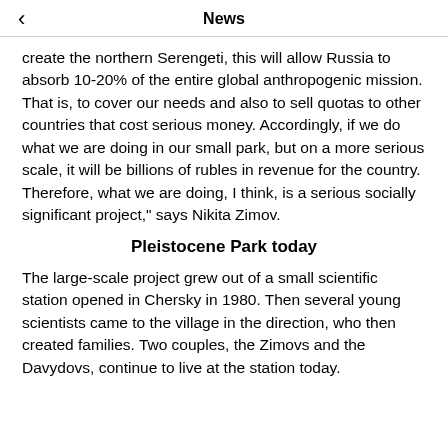News
create the northern Serengeti, this will allow Russia to absorb 10-20% of the entire global anthropogenic mission. That is, to cover our needs and also to sell quotas to other countries that cost serious money. Accordingly, if we do what we are doing in our small park, but on a more serious scale, it will be billions of rubles in revenue for the country. Therefore, what we are doing, I think, is a serious socially significant project," says Nikita Zimov.
Pleistocene Park today
The large-scale project grew out of a small scientific station opened in Chersky in 1980. Then several young scientists came to the village in the direction, who then created families. Two couples, the Zimovs and the Davydovs, continue to live at the station today.